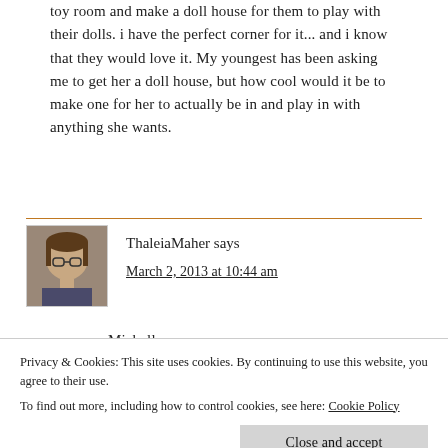toy room and make a doll house for them to play with their dolls. i have the perfect corner for it... and i know that they would love it. My youngest has been asking me to get her a doll house, but how cool would it be to make one for her to actually be in and play in with anything she wants.
ThaleiaMaher says
March 2, 2013 at 10:44 am
Michell...
Privacy & Cookies: This site uses cookies. By continuing to use this website, you agree to their use.
To find out more, including how to control cookies, see here: Cookie Policy
Close and accept
LEAVE A REPLY